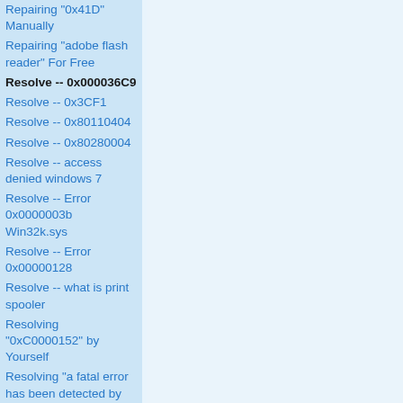Repairing "0x41D" Manually
Repairing "adobe flash reader" For Free
Resolve -- 0x000036C9
Resolve -- 0x3CF1
Resolve -- 0x80110404
Resolve -- 0x80280004
Resolve -- access denied windows 7
Resolve -- Error 0x0000003b Win32k.sys
Resolve -- Error 0x00000128
Resolve -- what is print spooler
Resolving "0xC0000152" by Yourself
Resolving "a fatal error has been detected by the java runtime environment exception_access_violati… by Yourself
Showing 50 (0x32): What Can be Done?